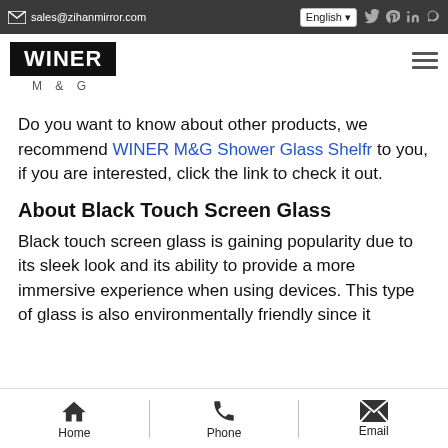sales@zihanmirror.com | English | social icons
[Figure (logo): WINER M&G logo — white text on black background with M & G subtitle]
Do you want to know about other products, we recommend WINER M&G Shower Glass Shelfr to you, if you are interested, click the link to check it out.
About Black Touch Screen Glass
Black touch screen glass is gaining popularity due to its sleek look and its ability to provide a more immersive experience when using devices. This type of glass is also environmentally friendly since it
Home | Phone | Email